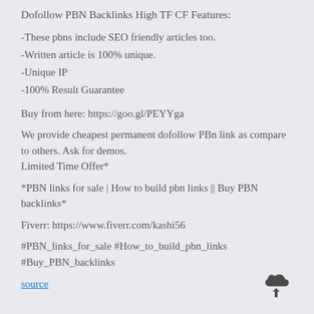Dofollow PBN Backlinks High TF CF Features:
-These pbns include SEO friendly articles too.
-Written article is 100% unique.
-Unique IP
-100% Result Guarantee
Buy from here: https://goo.gl/PEYYga
We provide cheapest permanent dofollow PBn link as compare to others. Ask for demos.
Limited Time Offer*
*PBN links for sale | How to build pbn links || Buy PBN backlinks*
Fiverr: https://www.fiverr.com/kashi56
#PBN_links_for_sale #How_to_build_pbn_links
#Buy_PBN_backlinks
source